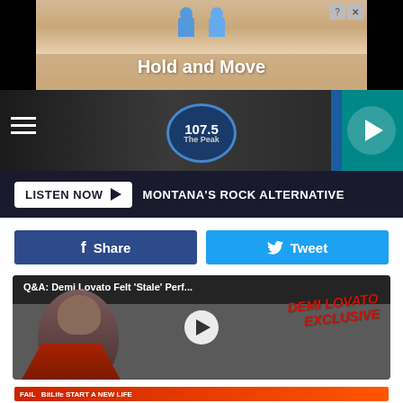[Figure (screenshot): Top banner advertisement showing 'Hold and Move' app/game with two character figures on a sandy background, close button in top right]
[Figure (screenshot): Radio station navigation bar for 107.5 The Peak, Montana's Rock Alternative, with hamburger menu, station logo badge, and play button on teal background]
[Figure (screenshot): Listen Now button bar with dark background saying MONTANA'S ROCK ALTERNATIVE]
[Figure (screenshot): Facebook Share and Twitter Tweet social sharing buttons]
[Figure (screenshot): Video thumbnail for Q&A: Demi Lovato Felt 'Stale' Perf... showing Demi Lovato with DEMI LOVATO EXCLUSIVE text overlay and play button]
[Figure (screenshot): Bottom advertisement banner for BitLife - Start A New Life game with FAIL text and animated characters on red/orange background]